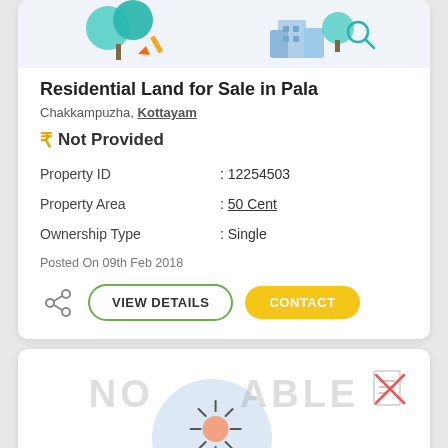[Figure (illustration): Top banner of property listing card showing illustrated trees and buildings icons on light background]
Residential Land for Sale in Pala
Chakkampuzha, Kottayam
₹ Not Provided
| Field | Value |
| --- | --- |
| Property ID | : 12254503 |
| Property Area | : 50 Cent |
| Ownership Type | : Single |
Posted On 09th Feb 2018
[Figure (illustration): Second property card with 'NOT AVAILABLE' watermark text, a light blue circle, sun/bulb icon, document icon with red cross in top right]
VIEW DETAILS
CONTACT